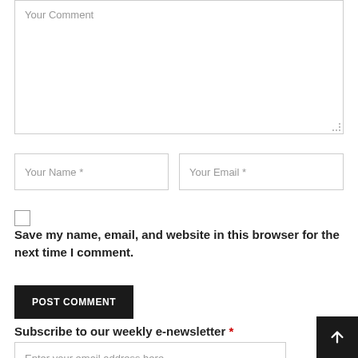Your Comment
Your Name *
Your Email *
Save my name, email, and website in this browser for the next time I comment.
POST COMMENT
Subscribe to our weekly e-newsletter *
Enter your email address here